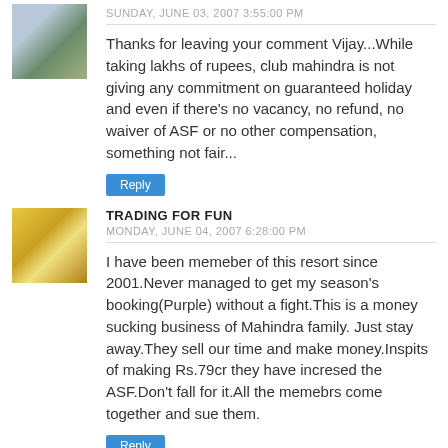SUNDAY, JUNE 03, 2007 3:55:00 PM
Thanks for leaving your comment Vijay...While taking lakhs of rupees, club mahindra is not giving any commitment on guaranteed holiday and even if there's no vacancy, no refund, no waiver of ASF or no other compensation, something not fair...
Reply
TRADING FOR FUN
MONDAY, JUNE 04, 2007 6:28:00 PM
I have been memeber of this resort since 2001.Never managed to get my season's booking(Purple) without a fight.This is a money sucking business of Mahindra family. Just stay away.They sell our time and make money.Inspits of making Rs.79cr they have incresed the ASF.Don't fall for it.All the memebrs come together and sue them.
Reply
SHRINIDHI HANDE
TUESDAY, JUNE 05, 2007 11:06:00 PM
HI Milan, I dont think one can sue them. They have